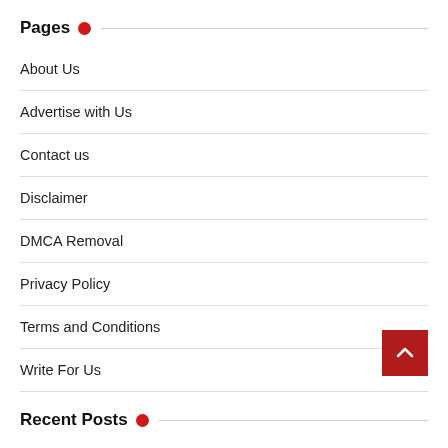Pages
About Us
Advertise with Us
Contact us
Disclaimer
DMCA Removal
Privacy Policy
Terms and Conditions
Write For Us
Recent Posts
Make a blanket on a loom Crossword Clue
What Happened To Neena Pacholke From WAOW? Sad News As